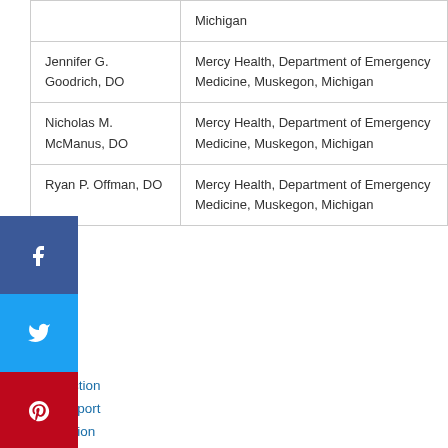| Author | Affiliation |
| --- | --- |
|  | Michigan |
| Jennifer G. Goodrich, DO | Mercy Health, Department of Emergency Medicine, Muskegon, Michigan |
| Nicholas M. McManus, DO | Mercy Health, Department of Emergency Medicine, Muskegon, Michigan |
| Ryan P. Offman, DO | Mercy Health, Department of Emergency Medicine, Muskegon, Michigan |
Introduction
Case report
Discussion